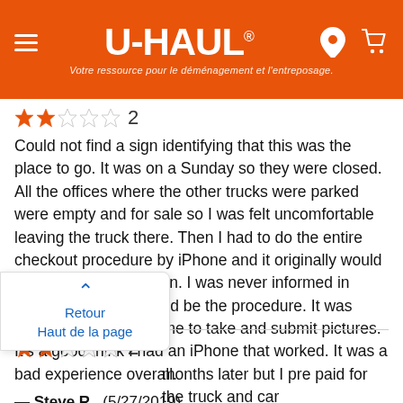U-HAUL® — Votre ressource pour le déménagement et l'entreposage.
★★☆☆☆ 2
Could not find a sign identifying that this was the place to go. It was on a Sunday so they were closed. All the offices where the other trucks were parked were empty and for sale so I was felt uncomfortable leaving the truck there. Then I had to do the entire checkout procedure by iPhone and it originally would not take my information. I was never informed in advance that this would be the procedure. It was tedious and required me to take and submit pictures. It's a good think I had an iPhone that worked. It was a bad experience overall.
— Steve R.  (5/27/2019)
★★☆☆☆ 2
...months later but I pre paid for the truck and car ...arged an extra fee from the pickup location. I told ...the man prepaid but he still asked for my credit card and an extra fee was charged from his location. Why?
Retour
Haut de la page